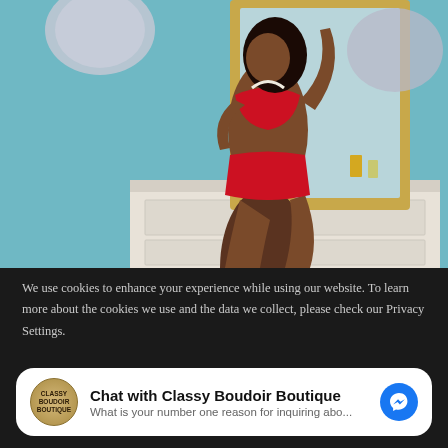[Figure (photo): A woman wearing red lingerie posing in front of a mirror with a gold frame, standing near a white dresser with ornate carvings. Crystal ball lamps hang in the background. The room has teal/blue patterned wallpaper.]
We use cookies to enhance your experience while using our website. To learn more about the cookies we use and the data we collect, please check our Privacy Settings.
Chat with Classy Boudoir Boutique
What is your number one reason for inquiring abo...